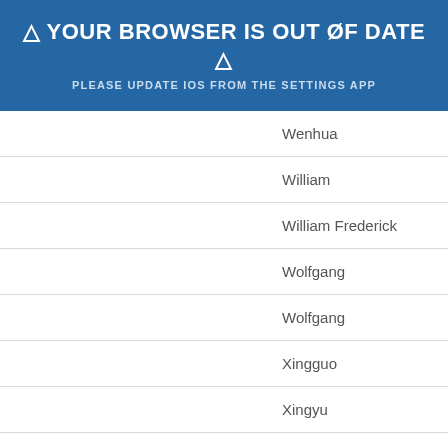⚠ YOUR BROWSER IS OUT OF DATE ⚠
PLEASE UPDATE IOS FROM THE SETTINGS APP
Wenhua
William
William Frederick
Wolfgang
Wolfgang
Xingguo
Xingyu
Xuelong